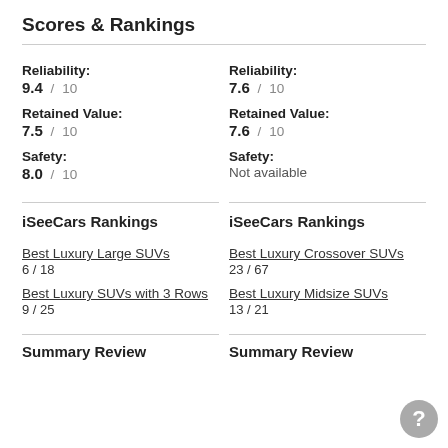Scores & Rankings
Reliability: 9.4 / 10
Reliability: 7.6 / 10
Retained Value: 7.5 / 10
Retained Value: 7.6 / 10
Safety: 8.0 / 10
Safety: Not available
iSeeCars Rankings
iSeeCars Rankings
Best Luxury Large SUVs
6 / 18
Best Luxury Crossover SUVs
23 / 67
Best Luxury SUVs with 3 Rows
9 / 25
Best Luxury Midsize SUVs
13 / 21
Summary Review
Summary Review